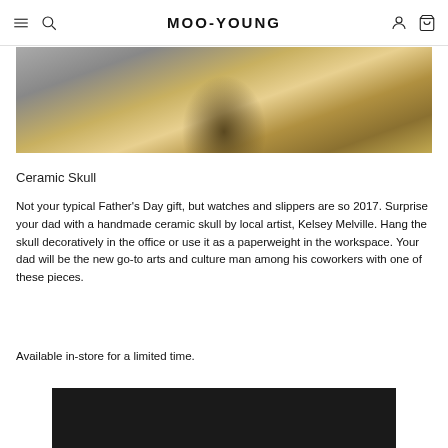MOO-YOUNG
[Figure (photo): Close-up photo of a ceramic skull piece showing the frame/opening, in tan and brown tones against a gray background]
Ceramic Skull
Not your typical Father's Day gift, but watches and slippers are so 2017. Surprise your dad with a handmade ceramic skull by local artist, Kelsey Melville. Hang the skull decoratively in the office or use it as a paperweight in the workspace. Your dad will be the new go-to arts and culture man among his coworkers with one of these pieces.
Available in-store for a limited time.
[Figure (photo): Bottom portion of another product photo, dark background visible at bottom of page]